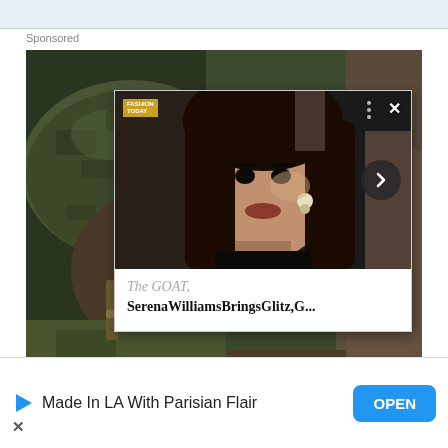Sponsored
[Figure (screenshot): Screenshot of a webpage showing a sponsored advertisement. Background image shows a soldier in combat helmet and gear. Overlaid popup card shows a woman's face with text 'The GOAT, SerenaWilliamsBringsGlitz,G...' with a forward arrow button, close X, and a small logo. Below is a banner ad with 'Made In LA With Parisian Flair' text and an OPEN button.]
Made In LA With Parisian Flair
OPEN